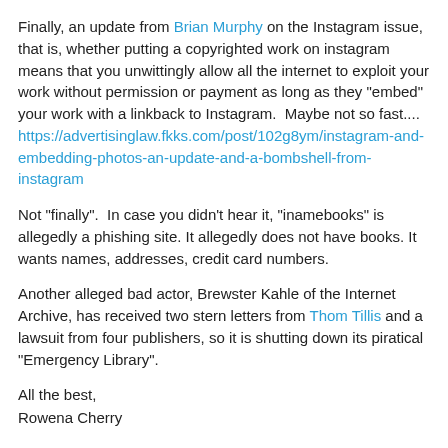Finally, an update from Brian Murphy on the Instagram issue, that is, whether putting a copyrighted work on instagram means that you unwittingly allow all the internet to exploit your work without permission or payment as long as they "embed" your work with a linkback to Instagram.  Maybe not so fast....
https://advertisinglaw.fkks.com/post/102g8ym/instagram-and-embedding-photos-an-update-and-a-bombshell-from-instagram
Not "finally".  In case you didn't hear it, "inamebooks" is allegedly a phishing site. It allegedly does not have books. It wants names, addresses, credit card numbers.
Another alleged bad actor, Brewster Kahle of the Internet Archive, has received two stern letters from Thom Tillis and a lawsuit from four publishers, so it is shutting down its piratical "Emergency Library".
All the best,
Rowena Cherry